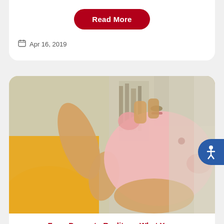Read More
Apr 16, 2019
[Figure (photo): Person in yellow sweater holding a pink piggy bank and inserting a coin into it, with a blurred bookshelf background]
From Dream to Reality — What Your Investment Looks Like